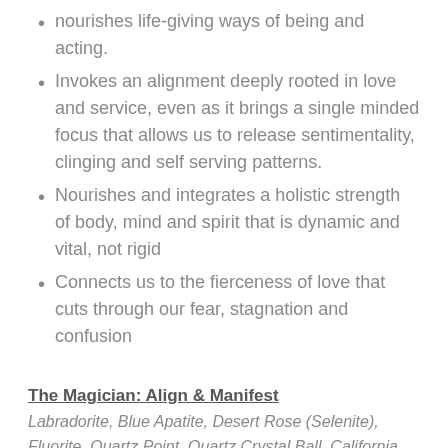nourishes life-giving ways of being and acting.
Invokes an alignment deeply rooted in love and service, even as it brings a single minded focus that allows us to release sentimentality, clinging and self serving patterns.
Nourishes and integrates a holistic strength of body, mind and spirit that is dynamic and vital, not rigid
Connects us to the fierceness of love that cuts through our fear, stagnation and confusion
The Magician: Align & Manifest
Labradorite, Blue Apatite, Desert Rose (Selenite), Fluorite, Quartz Point, Quartz Crystal Ball, California Buckeye Seed, Lavender Flower.
Full Moon Eclipse in Scorpio/Blood Moon, May 2022
In a base of vanilla & orange peel infused brandy, raw honey & spring water, 1 oz.